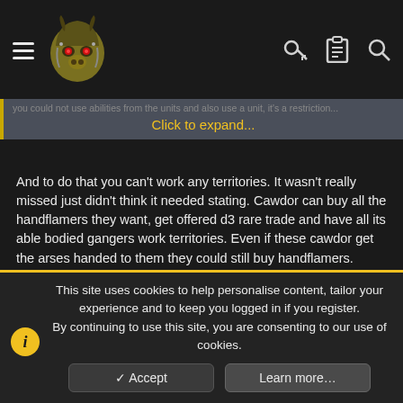[Navigation header with hamburger menu, site logo (armored creature mascot), key icon, clipboard icon, search icon]
Click to expand...
And to do that you can't work any territories. It wasn't really missed just didn't think it needed stating. Cawdor can buy all the handflamers they want, get offered d3 rare trade and have all its able bodied gangers work territories. Even if these cawdor get the arses handed to them they could still buy handflamers.
I only use the handflamers as as example as they are the most obvious weapon whose restriction effect spamming concerns. True i never ever played the House weapon List but i have played all the gangs. The HWL in the living rulebook was what put me off it in the first place looking through the NCe and i can see it just blurred the issue for some of the
This site uses cookies to help personalise content, tailor your experience and to keep you logged in if you register.
By continuing to use this site, you are consenting to our use of cookies.
✓ Accept
Learn more…